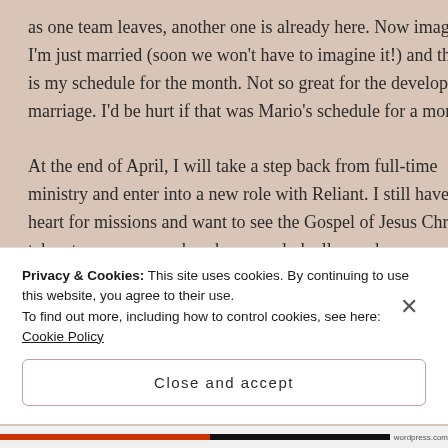as one team leaves, another one is already here. Now imagine I'm just married (soon we won't have to imagine it!) and that is my schedule for the month. Not so great for the developing marriage. I'd be hurt if that was Mario's schedule for a month.

At the end of April, I will take a step back from full-time ministry and enter into a new role with Reliant. I still have a heart for missions and want to see the Gospel of Jesus Christ taken to every sunny beach, every dark alley and every unreached person. I do not
Privacy & Cookies: This site uses cookies. By continuing to use this website, you agree to their use.
To find out more, including how to control cookies, see here: Cookie Policy
Close and accept